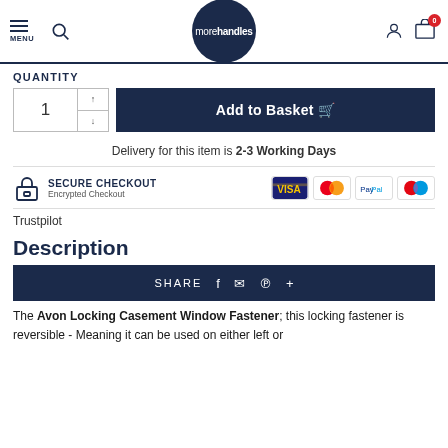morehandles — MENU, search, user, basket (0)
QUANTITY
Quantity: 1 | Add to Basket
Delivery for this item is 2-3 Working Days
SECURE CHECKOUT — Encrypted Checkout
Trustpilot
Description
SHARE
The Avon Locking Casement Window Fastener; this locking fastener is reversible - Meaning it can be used on either left or